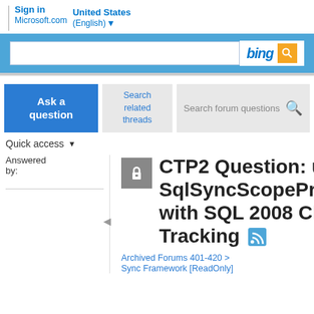Sign in | Microsoft.com | United States (English)
[Figure (screenshot): Bing search bar with blue background and orange search button]
Ask a question
Search related threads
Search forum questions
Quick access
Answered by:
CTP2 Question: using SqlSyncScopeProvisioning with SQL 2008 Change Tracking
Archived Forums 401-420 >